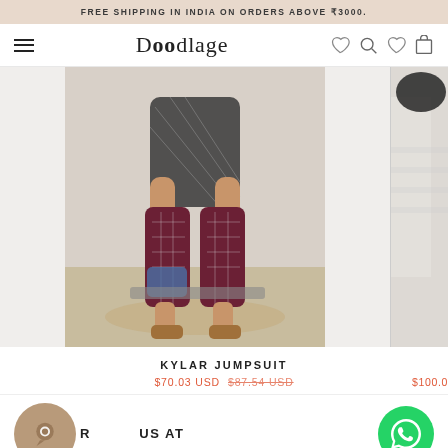FREE SHIPPING IN INDIA ON ORDERS ABOVE ₹3000.
[Figure (screenshot): Doodlage e-commerce website navigation bar with hamburger menu, logo, heart icon, search icon, wishlist icon, and cart icon]
[Figure (photo): Fashion product photo: woman sitting wearing Kylar Jumpsuit in dark plaid pattern with brown sandals, center product image with partial second image on the right]
KYLAR JUMPSUIT
$70.03 USD  $87.54 USD  $100.0
REACH US AT